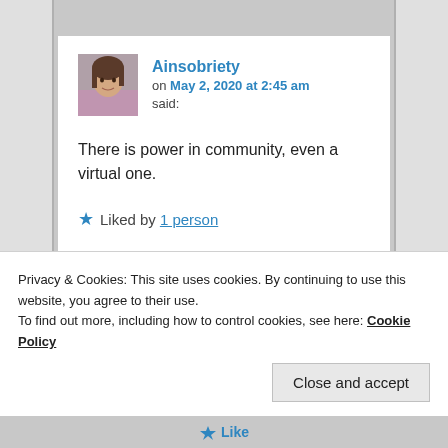[Figure (screenshot): Blog comment by user Ainsobriety posted on May 2, 2020 at 2:45 am, with avatar photo, comment text 'There is power in community, even a virtual one.', and a Liked by 1 person indicator]
Ainsobriety on May 2, 2020 at 2:45 am said: There is power in community, even a virtual one. Liked by 1 person
Privacy & Cookies: This site uses cookies. By continuing to use this website, you agree to their use. To find out more, including how to control cookies, see here: Cookie Policy